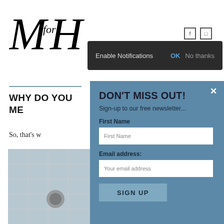[Figure (logo): MforH italic serif logo in top left]
[Figure (screenshot): Browser notification bar: Enable Notifications | OK | No thanks on dark background]
WHY DO YOU ME
So, that's w
[Figure (photo): Partial photo of bathroom tiles with showerhead, grey tones]
[Figure (screenshot): Email signup modal overlay with title DON'T MISS OUT!, Sign-up to our free newsletter..., First Name field, Email address field, and SIGN UP button on blue-grey background]